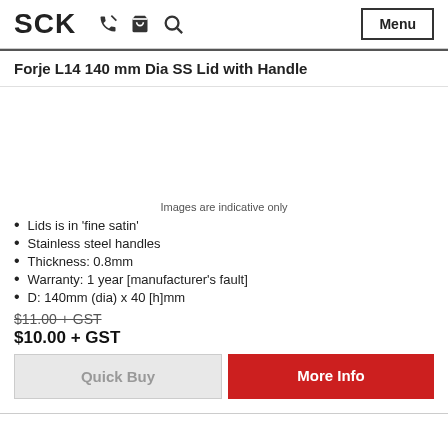SCK  Menu
Forje L14 140 mm Dia SS Lid with Handle
[Figure (photo): Product image area (blank/indicative)]
Images are indicative only
Lids is in 'fine satin'
Stainless steel handles
Thickness: 0.8mm
Warranty: 1 year [manufacturer's fault]
D: 140mm (dia) x 40 [h]mm
$11.00 + GST
$10.00 + GST